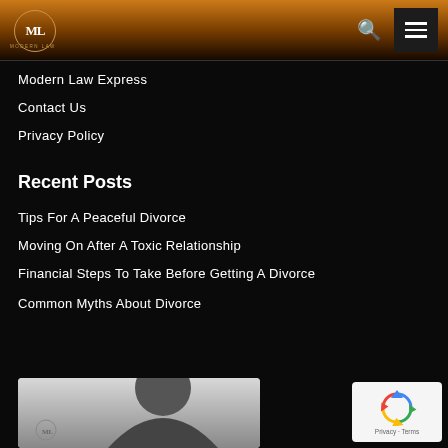ML Modern Law — site header with logo, search icon, and menu button
Modern Law Express
Contact Us
Privacy Policy
Recent Posts
Tips For A Peaceful Divorce
Moving On After A Toxic Relationship
Financial Steps To Take Before Getting A Divorce
Common Myths About Divorce
[Figure (photo): Partial thumbnail of a person's profile/silhouette image with ML logo watermark]
[Figure (other): reCAPTCHA widget showing a recycling-style arrows icon with 'Privacy - Terms' text below]